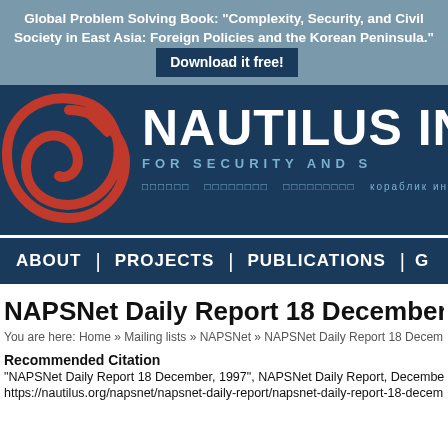Global Problem Solving Book: "Complexity, Security, and Civil Society in East Asia: Foreign Policies and the Korean Peninsula." Download it free!
[Figure (logo): Nautilus Institute logo: red spiral on dark navy background with text NAUTILUS IN FOR SECURITY AND S, with multilingual text below]
ABOUT | PROJECTS | PUBLICATIONS | G
NAPSNet Daily Report 18 December, 1997
You are here: Home » Mailing lists » NAPSNet » NAPSNet Daily Report 18 Decem
Recommended Citation
"NAPSNet Daily Report 18 December, 1997", NAPSNet Daily Report, December 1
https://nautilus.org/napsnet/napsnet-daily-report/napsnet-daily-report-18-decem